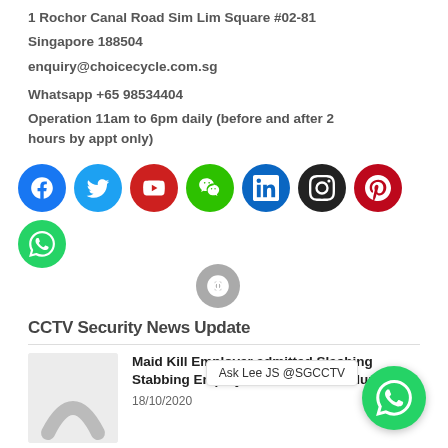1 Rochor Canal Road Sim Lim Square #02-81
Singapore 188504
enquiry@choicecycle.com.sg
Whatsapp +65 98534404
Operation 11am to 6pm daily (before and after 2 hours by appt only)
[Figure (infographic): Row of social media icons: Facebook (blue), Twitter (light blue), YouTube (red), WeChat (green), LinkedIn (blue), Instagram (black), Pinterest (dark red), WhatsApp (green), and a Bloglovin/blog icon (gray) on a second row.]
CCTV Security News Update
[Figure (photo): Thumbnail image showing a dark curved shape (logo/brand mark) on a light background.]
Maid Kill Employer admitted Slashing Stabbing Employer over 90 times Murder Sin
18/10/2020
Ask Lee JS @SGCCTV
How to protect your WIFI Network